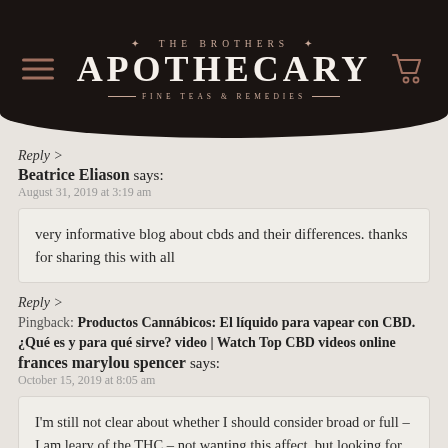THE BROTHERS APOTHECARY · FINE TEAS & REMEDIES
Reply >
Beatrice Eliason says:
August 31, 2019 at 3:19 am
very informative blog about cbds and their differences. thanks for sharing this with all
Reply >
Pingback: Productos Cannábicos: El líquido para vapear con CBD. ¿Qué es y para qué sirve? video | Watch Top CBD videos online
frances marylou spencer says:
October 15, 2019 at 8:05 am
I'm still not clear about whether I should consider broad or full – I am leary of the THC – not wanting this affect, but looking for pain relief from arthritis, rheumatoid, and awaiting hip surgery so I experience much groin pain during the course of the day I would like to eliminate as much as possible. Can